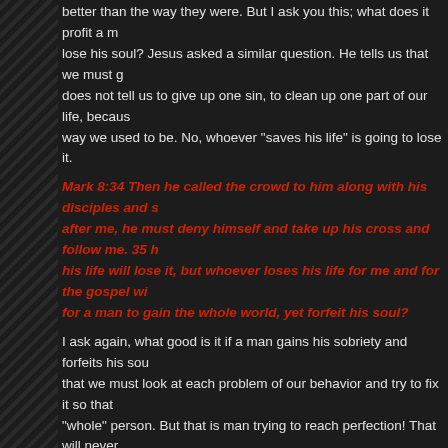better than the way they were. But I ask you this; what does it profit a man to lose his soul? Jesus asked a similar question. He tells us that we must g... does not tell us to give up one sin, to clean up one part of our life, becaus... way we used to be. No, whoever "saves his life" is going to lose it.
Mark 8:34 Then he called the crowd to him along with his disciples and s... after me, he must deny himself and take up his cross and follow me. 35 h... his life will lose it, but whoever loses his life for me and for the gospel wi... for a man to gain the whole world, yet forfeit his soul?
I ask again, what good is it if a man gains his sobriety and forfeits his sou... that we must look at each problem of our behavior and try to fix it so that... "whole" person. But that is man trying to reach perfection! That will never... fallen short of God's glory (Rom 3:23). We need to realize that we are no... sobriety; we are sinners in need of God. We will never find God by trying... behavior one piece at a time. This is the wrong method to find true Biblic... not keep their old clothes and simply sew new patches of unshrunk cloth... as they cleanse each sin. If they were to do that their clothes would be w... better! Look at what Jesus said:
Matt 9:16 "No one sews a patch of unshrunk cloth on an old garment, fo... the garment, making the tear worse. 17 Neither do men pour new wine i... the skins will burst, the wine will run out and the wineskins will be ruined... new wineskins, and both are preserved."
What we need is a new outfit! When we replace, rather than patch, the o...